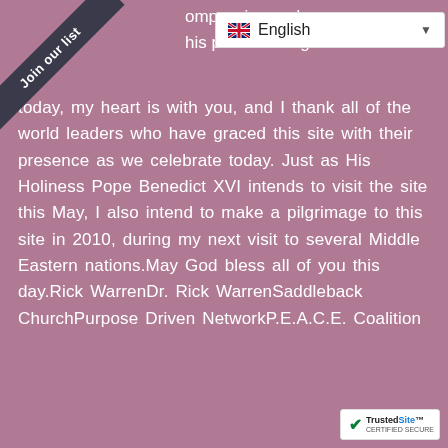[Figure (other): Corner ribbon banner with text 'Join our list' on dark background, rotated diagonally in top-left corner]
[Figure (screenshot): Language selector dropdown showing UK flag and 'English' with dropdown arrow, white background overlay]
ompassion and his placeAlthough today, my heart is with you, and I thank all of the world leaders who have graced this site with their presence as we celebrate today. Just as His Holiness Pope Benedict XVI intends to visit the site this May, I also intend to make a pilgrimage to this site in 2010, during my next visit to several Middle Eastern nations.May God bless all of you this day.Rick WarrenDr. Rick WarrenSaddleback ChurchPurpose Driven NetworkP.E.A.C.E. Coalition
[Figure (logo): TrustedSite Certified Secure badge in bottom-right corner, white background with green checkmark]